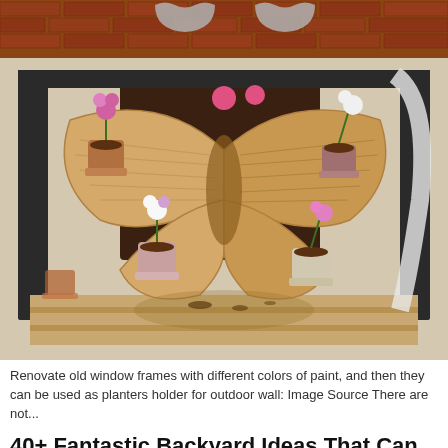[Figure (photo): A butterfly-shaped wooden pallet planter holding multiple flower pots with blooming plants, photographed outdoors against a wall with a window frame.]
Renovate old window frames with different colors of paint, and then they can be used as planters holder for outdoor wall: Image Source There are not...
40+ Fantastic Backyard Ideas That Can Inspire you